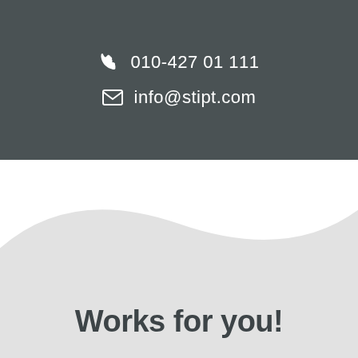010-427 01 111
info@stipt.com
[Figure (illustration): Light gray wave/hill shape dividing white background and light gray lower section]
Works for you!